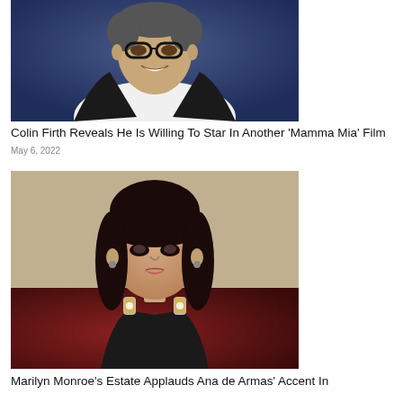[Figure (photo): Photo of Colin Firth smiling, wearing glasses and a dark blazer over a white shirt, against a blue background.]
Colin Firth Reveals He Is Willing To Star In Another ‘Mamma Mia’ Film May 6, 2022
[Figure (photo): Photo of Ana de Armas with dark hair and bangs, wearing black outfit with ornate silver jeweled straps, against a red background.]
Marilyn Monroe’s Estate Applauds Ana de Armas’ Accent In